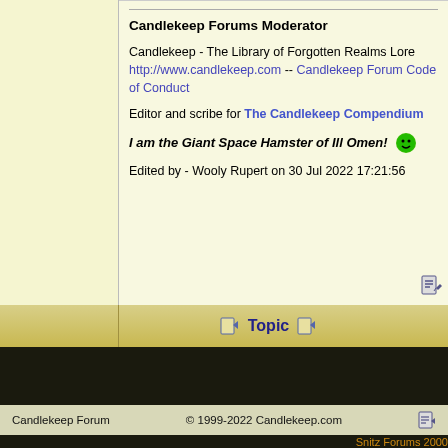Candlekeep Forums Moderator
Candlekeep - The Library of Forgotten Realms Lore
http://www.candlekeep.com -- Candlekeep Forum Code of Conduct
Editor and scribe for The Candlekeep Compendium
I am the Giant Space Hamster of Ill Omen!
Edited by - Wooly Rupert on 30 Jul 2022 17:21:56
Topic
Jump To: Select Forum
New Topic
New Poll
Reply to Topic
Printer Friendly
Candlekeep Forum © 1999-2022 Candlekeep.com
Snitz Forums 2000